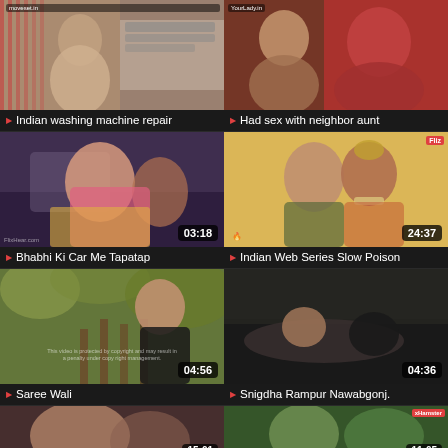[Figure (photo): Video thumbnail grid with 8 video thumbnails arranged in 4 rows of 2, each with title and play button]
Indian washing machine repair
Had sex with neighbor aunt
Bhabhi Ki Car Me Tapatap
Indian Web Series Slow Poison
Saree Wali
Snigdha Rampur Nawabgonj.